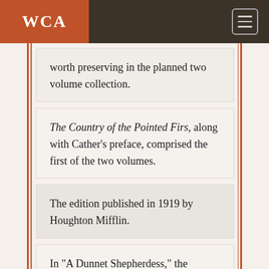WCA
worth preserving in the planned two volume collection.
The Country of the Pointed Firs, along with Cather's preface, comprised the first of the two volumes.
The edition published in 1919 by Houghton Mifflin.
In "A Dunnet Shepherdess," the unnamed narrator discovers that William Blackett,